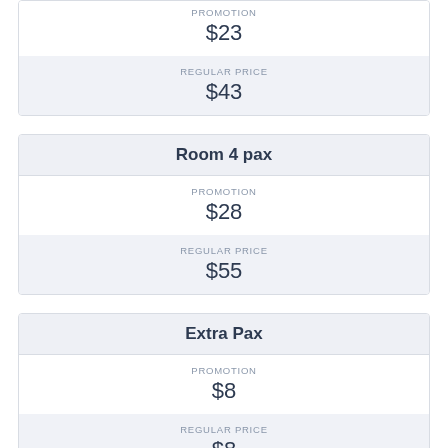| PROMOTION | $23 |
| REGULAR PRICE | $43 |
| Room 4 pax |
| --- |
| PROMOTION | $28 |
| REGULAR PRICE | $55 |
| Extra Pax |
| --- |
| PROMOTION | $8 |
| REGULAR PRICE | $8 |